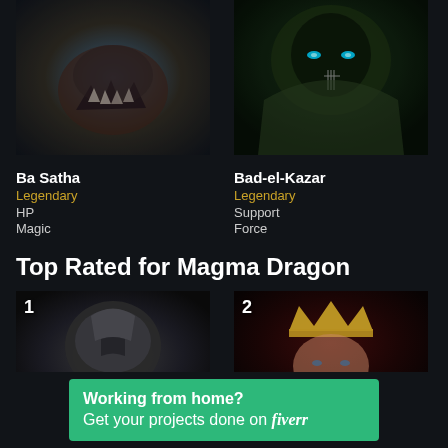[Figure (illustration): Fantasy game character Ba Satha — monstrous creature with open fanged mouth, blue background]
[Figure (illustration): Fantasy game character Bad-el-Kazar — hooded figure with glowing blue eyes and face markings, green-toned]
Ba Satha
Legendary
HP
Magic
Bad-el-Kazar
Legendary
Support
Force
Top Rated for Magma Dragon
[Figure (illustration): Ranked #1 champion — armored warrior, dark metallic tones]
[Figure (illustration): Ranked #2 champion — queen/warrior with gold crown and red tones]
Working from home?
Get your projects done on fiverr